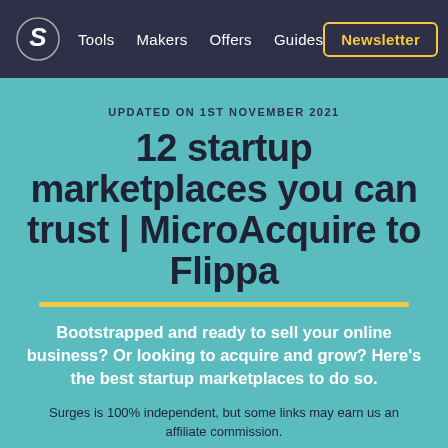Tools  Makers  Offers  Guides  Newsletter
UPDATED ON 1ST NOVEMBER 2021
12 startup marketplaces you can trust | MicroAcquire to Flippa
Bootstrapped and ready to sell your online business? Or looking to acquire and grow? Here's the best startup marketplaces to do so.
Surges is 100% independent, but some links may earn us an affiliate commission.